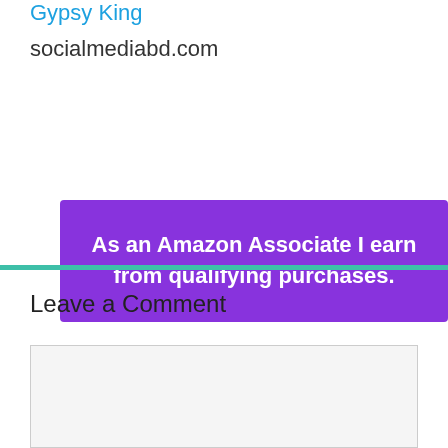Gypsy King
socialmediabd.com
As an Amazon Associate I earn from qualifying purchases.
Leave a Comment